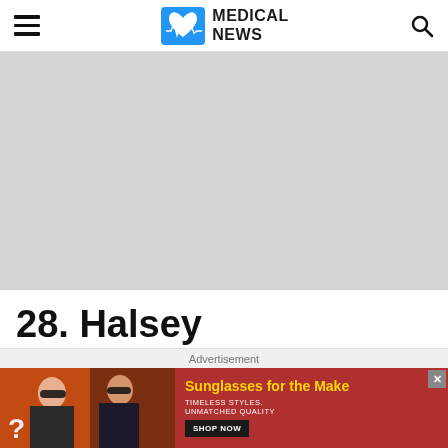MEDICAL NEWS
[Figure (photo): Large gray placeholder image for article]
28. Halsey
Advertisement
[Figure (photo): Advertisement banner: two women wearing sunglasses. Text reads: Sunglasses for the Make. TIMELESS STYLES. UNMATCHED QUALITY. SHOP NOW button.]